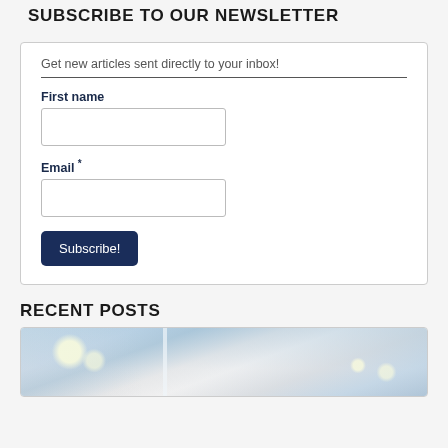SUBSCRIBE TO OUR NEWSLETTER
Get new articles sent directly to your inbox!
First name
Email *
Subscribe!
RECENT POSTS
[Figure (photo): Interior room photo showing a bright modern space with large windows, pendant globe lights, and an open doorway.]